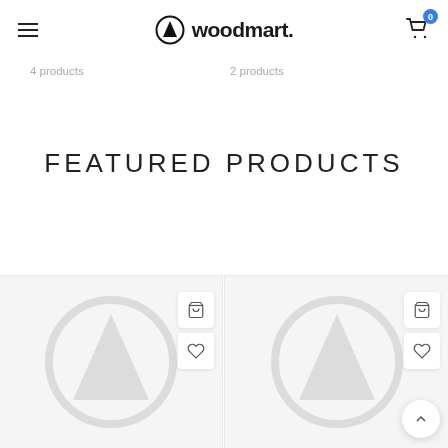woodmart. header with hamburger menu and cart
4 products
2 products
FEATURED PRODUCTS
[Figure (screenshot): Product card placeholder with woodmart logo watermark, add to cart and wishlist buttons]
[Figure (screenshot): Product card placeholder with woodmart logo watermark, add to cart and wishlist buttons]